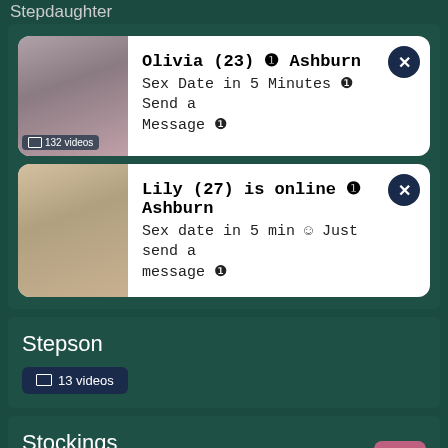Stepdaughter
[Figure (photo): Ad card with photo of young woman, text: Olivia (23) Ashburn - Sex Date in 5 Minutes Send a Message, 132 videos]
[Figure (photo): Ad card with photo of woman, text: Lily (27) is online Ashburn - Sex date in 5 min Just send a message]
Stepson
13 videos
Stockings
20 videos